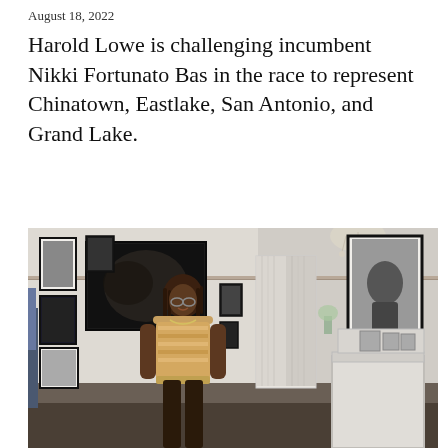August 18, 2022
Harold Lowe is challenging incumbent Nikki Fortunato Bas in the race to represent Chinatown, Eastlake, San Antonio, and Grand Lake.
[Figure (photo): A person standing in a room decorated with framed black-and-white photographs on the walls, a curtained doorway, and a mantelpiece with small framed photos. The person is wearing a patterned top and appears to be smiling.]